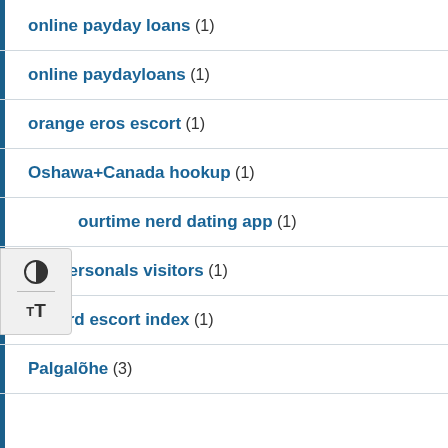online payday loans (1)
online paydayloans (1)
orange eros escort (1)
Oshawa+Canada hookup (1)
ourtime nerd dating app (1)
OutPersonals visitors (1)
oxnard escort index (1)
Palgalõhe (3)